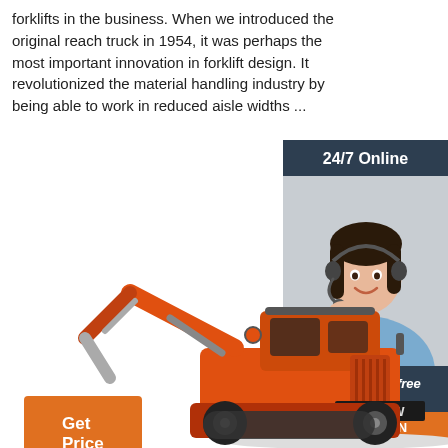forklifts in the business. When we introduced the original reach truck in 1954, it was perhaps the most important innovation in forklift design. It revolutionized the material handling industry by being able to work in reduced aisle widths ...
[Figure (other): Orange button labeled 'Get Price']
[Figure (photo): 24/7 Online chat widget with photo of a customer service representative wearing a headset, dark blue background, 'Click here for free chat!' text, and an orange QUOTATION button.]
[Figure (photo): Orange wheeled excavator labeled LT815W on white background, bottom portion of the page.]